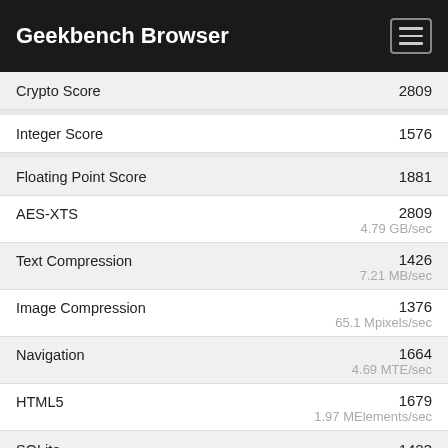Geekbench Browser
| Metric | Score | Unit |
| --- | --- | --- |
| Crypto Score | 2809 |  |
| Integer Score | 1576 |  |
| Floating Point Score | 1881 |  |
| AES-XTS | 2809 | 4.79 GB/sec |
| Text Compression | 1426 | 7.21 MB/sec |
| Image Compression | 1376 | 65.1 Mpixels/sec |
| Navigation | 1664 | 4.69 MTE/sec |
| HTML5 | 1679 | 1.97 MElements/sec |
| SQLite | 1423 |  |